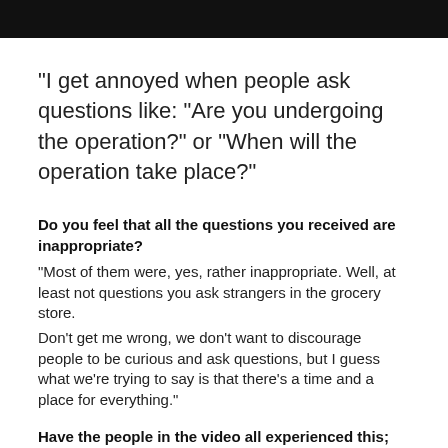“I get annoyed when people ask questions like: “Are you undergoing the operation?” or “When will the operation take place?”
Do you feel that all the questions you received are inappropriate?
“Most of them were, yes, rather inappropriate. Well, at least not questions you ask strangers in the grocery store.
Don’t get me wrong, we don’t want to discourage people to be curious and ask questions, but I guess what we’re trying to say is that there’s a time and a place for everything.”
Have the people in the video all experienced this; being